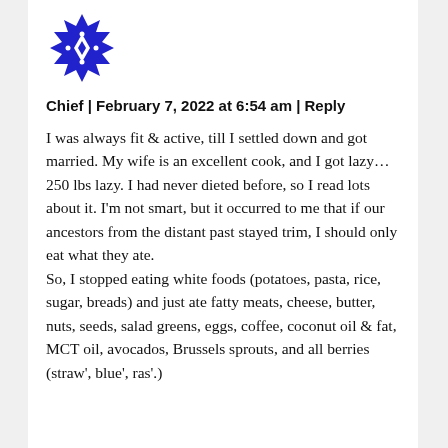[Figure (logo): Blue decorative avatar/icon with geometric diamond and star pattern]
Chief | February 7, 2022 at 6:54 am | Reply
I was always fit & active, till I settled down and got married. My wife is an excellent cook, and I got lazy… 250 lbs lazy. I had never dieted before, so I read lots about it. I'm not smart, but it occurred to me that if our ancestors from the distant past stayed trim, I should only eat what they ate.
So, I stopped eating white foods (potatoes, pasta, rice, sugar, breads) and just ate fatty meats, cheese, butter, nuts, seeds, salad greens, eggs, coffee, coconut oil & fat, MCT oil, avocados, Brussels sprouts, and all berries (straw', blue', ras'.)